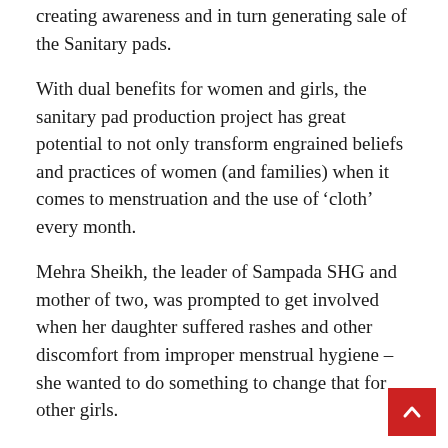creating awareness and in turn generating sale of the Sanitary pads.
With dual benefits for women and girls, the sanitary pad production project has great potential to not only transform engrained beliefs and practices of women (and families) when it comes to menstruation and the use of 'cloth' every month.
Mehra Sheikh, the leader of Sampada SHG and mother of two, was prompted to get involved when her daughter suffered rashes and other discomfort from improper menstrual hygiene – she wanted to do something to change that for other girls.
From a strict muslim family, she faced many challenges as generations-old practices had to be broken.  But today she has the full support of her family – so much so that her house has become the production centre of the enterprise, which is driven by 4 women from her S